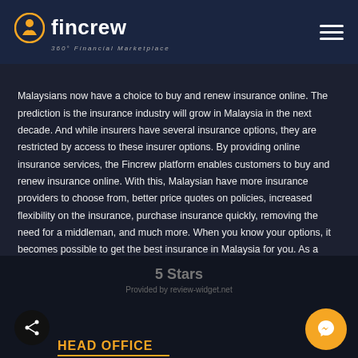Fincrew — 360° Financial Marketplace
Malaysians now have a choice to buy and renew insurance online. The prediction is the insurance industry will grow in Malaysia in the next decade. And while insurers have several insurance options, they are restricted by access to these insurer options. By providing online insurance services, the Fincrew platform enables customers to buy and renew insurance online. With this, Malaysian have more insurance providers to choose from, better price quotes on policies, increased flexibility on the insurance, purchase insurance quickly, removing the need for a middleman, and much more. When you know your options, it becomes possible to get the best insurance in Malaysia for you. As a leading insurance marketplace in the country, we provide you with the hard data you need to compare insurance in Malaysia and make the best choice for yourself.
5 Stars
Provided by review-widget.net
HEAD OFFICE